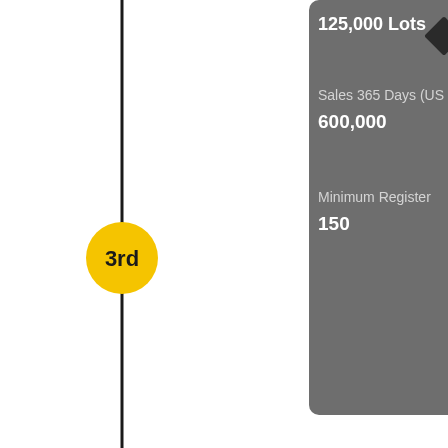[Figure (infographic): A vertical timeline with a '3rd' milestone marker (yellow circle) on a vertical black line, with a partially visible grey tooltip/popup box in the upper right corner showing: '125,000 Lots', 'Sales 365 Days (US...) 600,000', 'Minimum Register 150', and a small black diamond marker.]